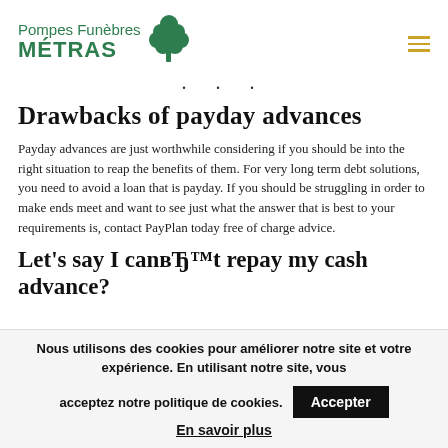Pompes Funèbres MÉTRAS
Drawbacks of payday advances
Payday advances are just worthwhile considering if you should be into the right situation to reap the benefits of them. For very long term debt solutions, you need to avoid a loan that is payday. If you should be struggling in order to make ends meet and want to see just what the answer that is best to your requirements is, contact PayPlan today free of charge advice.
Let's say I canвЂ™t repay my cash advance?
Nous utilisons des cookies pour améliorer notre site et votre expérience. En utilisant notre site, vous acceptez notre politique de cookies. En savoir plus